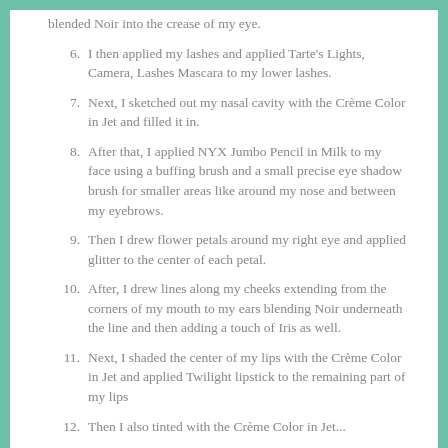6. I then applied my lashes and applied Tarte's Lights, Camera, Lashes Mascara to my lower lashes.
7. Next, I sketched out my nasal cavity with the Crème Color in Jet and filled it in.
8. After that, I applied NYX Jumbo Pencil in Milk to my face using a buffing brush and a small precise eye shadow brush for smaller areas like around my nose and between my eyebrows.
9. Then I drew flower petals around my right eye and applied glitter to the center of each petal.
10. After, I drew lines along my cheeks extending from the corners of my mouth to my ears blending Noir underneath the line and then adding a touch of Iris as well.
11. Next, I shaded the center of my lips with the Crème Color in Jet and applied Twilight lipstick to the remaining part of my lips
12. Then I also tinted...